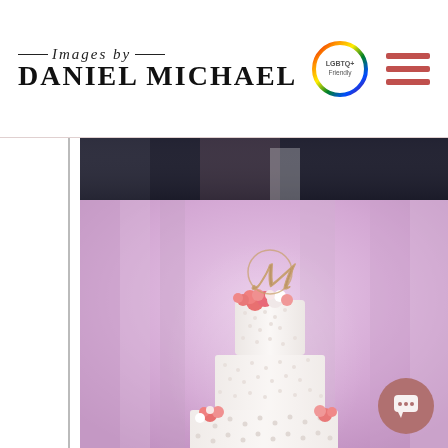Images by Daniel Michael
[Figure (photo): Top strip of a wedding photo showing a person in dark suit/tuxedo, partially cropped]
[Figure (photo): Wedding cake with multiple tiers, decorated with pink and white flowers, topped with a gold monogram letter M, against a purple draped background]
[Figure (logo): LGBTQ+ Friendly circular badge with rainbow border]